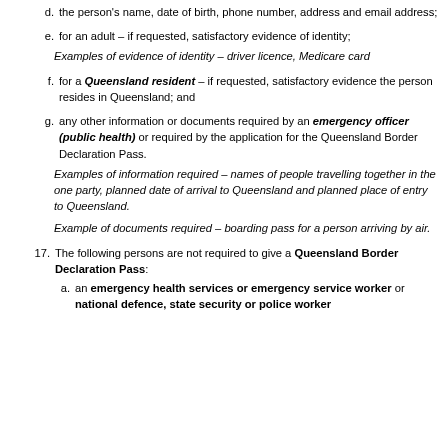d. the person's name, date of birth, phone number, address and email address;
e. for an adult – if requested, satisfactory evidence of identity;
Examples of evidence of identity – driver licence, Medicare card
f. for a Queensland resident – if requested, satisfactory evidence the person resides in Queensland; and
g. any other information or documents required by an emergency officer (public health) or required by the application for the Queensland Border Declaration Pass.
Examples of information required – names of people travelling together in the one party, planned date of arrival to Queensland and planned place of entry to Queensland.
Example of documents required – boarding pass for a person arriving by air.
17. The following persons are not required to give a Queensland Border Declaration Pass:
a. an emergency health services or emergency service worker or national defence, state security or police worker